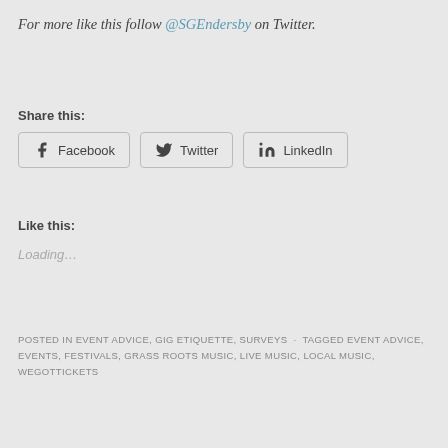For more like this follow @SGEndersby on Twitter.
Share this:
Facebook
Twitter
LinkedIn
Like this:
Loading…
POSTED IN EVENT ADVICE, GIG ETIQUETTE, SURVEYS · TAGGED EVENT ADVICE, EVENTS, FESTIVALS, GRASS ROOTS MUSIC, LIVE MUSIC, LOCAL MUSIC, WEGOTTICKETS